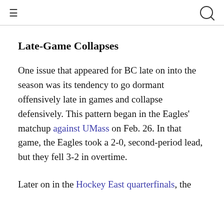≡  [search icon]
Late-Game Collapses
One issue that appeared for BC late on into the season was its tendency to go dormant offensively late in games and collapse defensively. This pattern began in the Eagles' matchup against UMass on Feb. 26. In that game, the Eagles took a 2-0, second-period lead, but they fell 3-2 in overtime.
Later on in the Hockey East quarterfinals, the